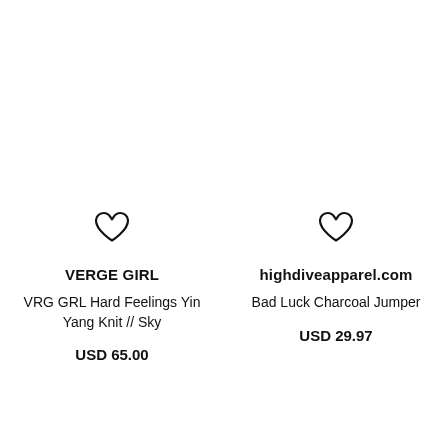[Figure (illustration): Heart/wishlist icon outline for left product]
VERGE GIRL
VRG GRL Hard Feelings Yin Yang Knit // Sky
USD 65.00
[Figure (illustration): Heart/wishlist icon outline for right product]
highdiveapparel.com
Bad Luck Charcoal Jumper
USD 29.97